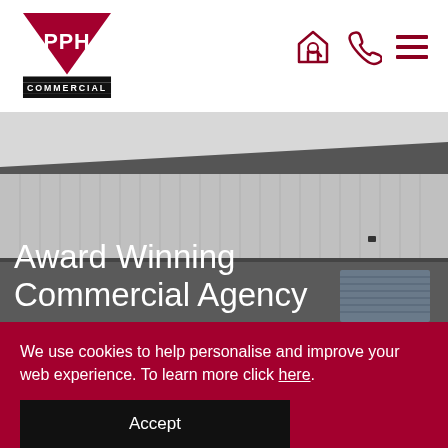[Figure (logo): PPH Commercial logo - red inverted triangle with PPH text and COMMERCIAL below, with horizontal black bars]
[Figure (infographic): Navigation icons: house with magnifying glass, phone handset, and hamburger menu lines - all in dark red/crimson]
[Figure (photo): Commercial industrial building exterior - grey corrugated metal cladding upper section, darker grey lower section, with a roller door visible on the right side]
Award Winning Commercial Agency
We use cookies to help personalise and improve your web experience. To learn more click here.
Accept